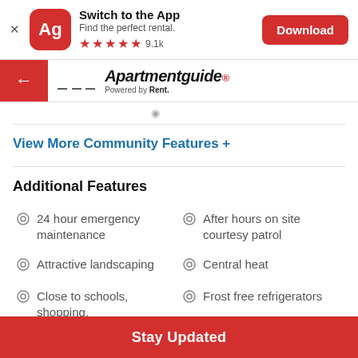[Figure (screenshot): App download banner for Apartmentguide app with red icon showing 'Ag', title 'Switch to the App', subtitle 'Find the perfect rental.', 5 red stars with 9.1k rating, and a red Download button]
[Figure (logo): Apartmentguide navigation bar with red back button, hamburger menu, and Apartmentguide logo with 'Powered by Rent.' subtitle]
View More Community Features +
Additional Features
24 hour emergency maintenance
After hours on site courtesy patrol
Attractive landscaping
Central heat
Close to schools, shopping,
Frost free refrigerators
Stay Updated